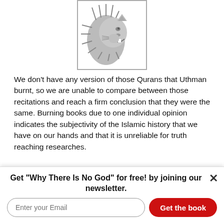[Figure (logo): Gray lion head logo with border, facing right with open mouth]
We don't have any version of those Qurans that Uthman burnt, so we are unable to compare between those recitations and reach a firm conclusion that they were the same. Burning books due to one individual opinion indicates the subjectivity of the Islamic history that we have on our hands and that it is unreliable for truth reaching researches.
Log in or register to post comments
Mon 11/24/2014 - 04:13
#34 | (Reply to #33)
Get "Why There Is No God" for free! by joining our newsletter.